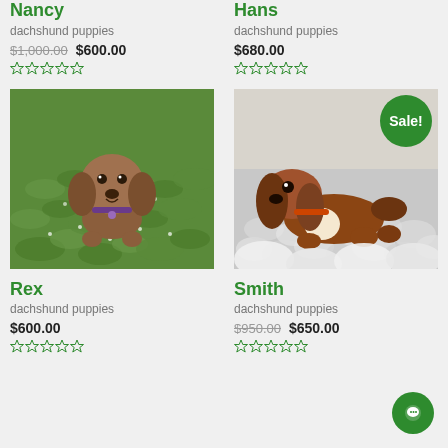Nancy
dachshund puppies
$1,000.00 $600.00
Hans
dachshund puppies
$680.00
[Figure (photo): Dachshund puppy standing in green leafy ground cover, looking up at camera]
Rex
dachshund puppies
$600.00
[Figure (photo): Brown and white dachshund puppy lying on white fluffy surface, with a Sale! badge in the top right corner]
Smith
dachshund puppies
$950.00 $650.00